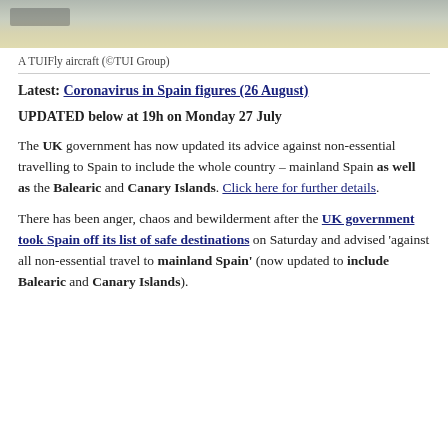[Figure (photo): Top portion of a TUIFly aircraft, showing the fuselage and wing against a light sky background.]
A TUIFly aircraft (©TUI Group)
Latest: Coronavirus in Spain figures (26 August)
UPDATED below at 19h on Monday 27 July
The UK government has now updated its advice against non-essential travelling to Spain to include the whole country – mainland Spain as well as the Balearic and Canary Islands. Click here for further details.
There has been anger, chaos and bewilderment after the UK government took Spain off its list of safe destinations on Saturday and advised 'against all non-essential travel to mainland Spain' (now updated to include Balearic and Canary Islands).